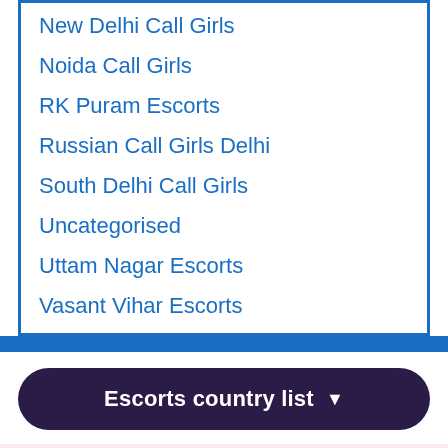New Delhi Call Girls
Noida Call Girls
RK Puram Escorts
Russian Call Girls Delhi
South Delhi Call Girls
Uncategorised
Uttam Nagar Escorts
Vasant Vihar Escorts
Escorts country list ▼
Female Escorts in Hauz Khas